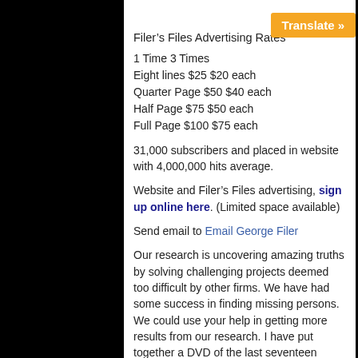Filer's Files Advertising Rates
1 Time 3 Times
Eight lines $25 $20 each
Quarter Page $50 $40 each
Half Page $75 $50 each
Full Page $100 $75 each
31,000 subscribers and placed in website with 4,000,000 hits average.
Website and Filer's Files advertising, sign up online here. (Limited space available)
Send email to Email George Filer
Our research is uncovering amazing truths by solving challenging projects deemed too difficult by other firms. We have had some success in finding missing persons. We could use your help in getting more results from our research. I have put together a DVD of the last seventeen years of Filer's Files for you with hundreds of great photographs and UFO sightings. Additionally, I have decided to include my book within the DVD that includes